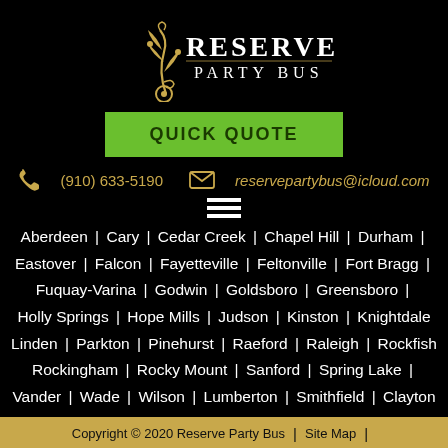[Figure (logo): Reserve Party Bus logo — decorative gold floral/scroll on left, text RESERVE PARTY BUS in white serif/sans letters on black background]
QUICK QUOTE
(910) 633-5190   reservepartybus@icloud.com
Aberdeen | Cary | Cedar Creek | Chapel Hill | Durham | Eastover | Falcon | Fayetteville | Feltonville | Fort Bragg | Fuquay-Varina | Godwin | Goldsboro | Greensboro | Holly Springs | Hope Mills | Judson | Kinston | Knightdale | Linden | Parkton | Pinehurst | Raeford | Raleigh | Rockfish | Rockingham | Rocky Mount | Sanford | Spring Lake | Vander | Wade | Wilson | Lumberton | Smithfield | Clayton | Florence
Copyright © 2020 Reserve Party Bus | Site Map |